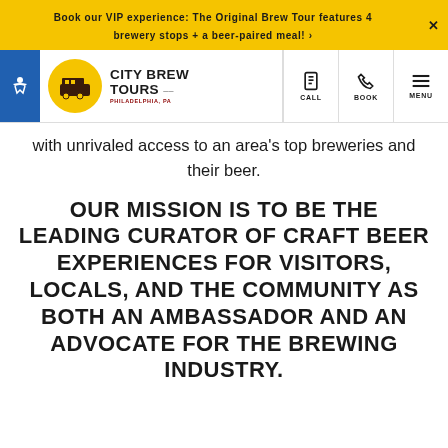Book our VIP experience: The Original Brew Tour features 4 brewery stops + a beer-paired meal! ›
[Figure (logo): City Brew Tours Philadelphia PA logo with bus icon in yellow circle, with CALL, BOOK, MENU navigation buttons]
with unrivaled access to an area's top breweries and their beer.
OUR MISSION IS TO BE THE LEADING CURATOR OF CRAFT BEER EXPERIENCES FOR VISITORS, LOCALS, AND THE COMMUNITY AS BOTH AN AMBASSADOR AND AN ADVOCATE FOR THE BREWING INDUSTRY.